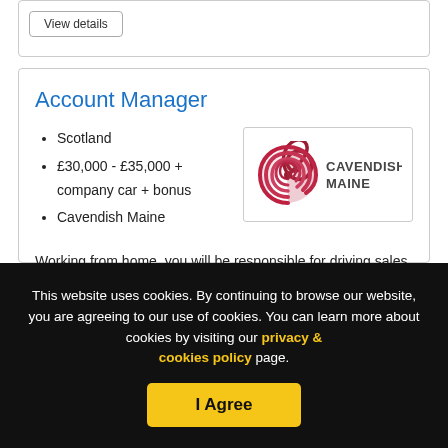View details
Account Manager
Scotland
£30,000 - £35,000 + company car + bonus
Cavendish Maine
[Figure (logo): Cavendish Maine company logo — red spiral shell icon with 'CAVENDISH MAINE' text to the right]
Working from home, you will be responsible for driving sales through garden centre and hardware retailers,...
This website uses cookies. By continuing to browse our website, you are agreeing to our use of cookies. You can learn more about cookies by visiting our privacy & cookies policy page.